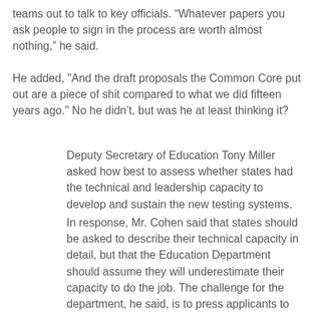teams out to talk to key officials. “Whatever papers you ask people to sign in the process are worth almost nothing,” he said.
He added, "And the draft proposals the Common Core put out are a piece of shit compared to what we did fifteen years ago." No he didn’t, but was he at least thinking it?
Deputy Secretary of Education Tony Miller asked how best to assess whether states had the technical and leadership capacity to develop and sustain the new testing systems.
In response, Mr. Cohen said that states should be asked to describe their technical capacity in detail, but that the Education Department should assume they will underestimate their capacity to do the job. The challenge for the department, he said, is to press applicants to be specific about their plans and capacity without forcing them to submit “works of fiction” that promise the impossible.